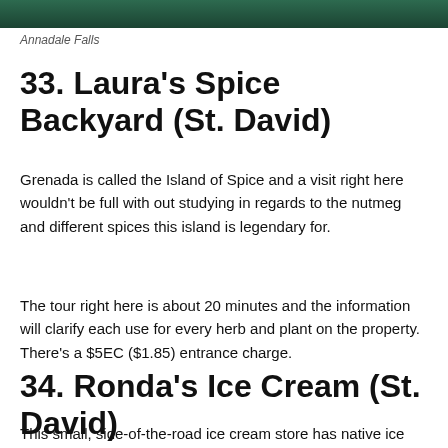[Figure (photo): Top strip showing green foliage — Annadale Falls]
Annadale Falls
33. Laura's Spice Backyard (St. David)
Grenada is called the Island of Spice and a visit right here wouldn't be full with out studying in regards to the nutmeg and different spices this island is legendary for.
The tour right here is about 20 minutes and the information will clarify each use for every herb and plant on the property. There's a $5EC ($1.85) entrance charge.
34. Ronda's Ice Cream (St. David)
This small, side-of-the-road ice cream store has native ice